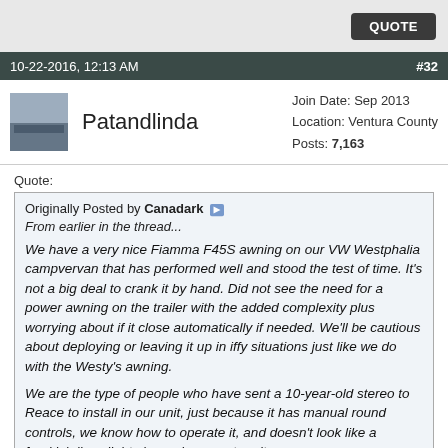QUOTE
10-22-2016, 12:13 AM  #32
Patandlinda  Join Date: Sep 2013  Location: Ventura County  Posts: 7,163
Quote:
Originally Posted by Canadark
From earlier in the thread...

We have a very nice Fiamma F45S awning on our VW Westphalia campvervan that has performed well and stood the test of time. It's not a big deal to crank it by hand. Did not see the need for a power awning on the trailer with the added complexity plus worrying about if it close automatically if needed. We'll be cautious about deploying or leaving it up in iffy situations just like we do with the Westy's awning.

We are the type of people who have sent a 10-year-old stereo to Reace to install in our unit, just because it has manual round controls, we know how to operate it, and doesn't look like a freakin' disco light show when you turn it